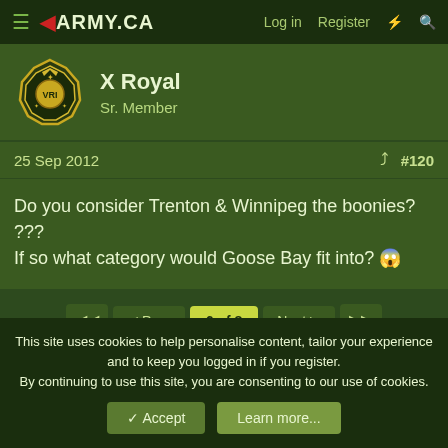◀ ARMY.CA | Log in | Register
[Figure (illustration): Military badge avatar for user X Royal]
X Royal
Sr. Member
25 Sep 2012  #120
Do you consider Trenton & Winnipeg the boonies? ???
If so what category would Goose Bay fit into? 😱
◀◀  ◀ Prev  6 of 8  Next ▶  ▶▶
You must log in or register to reply here.
Similar threads
This site uses cookies to help personalise content, tailor your experience and to keep you logged in if you register.
By continuing to use this site, you are consenting to our use of cookies.
✓ Accept | Learn more...